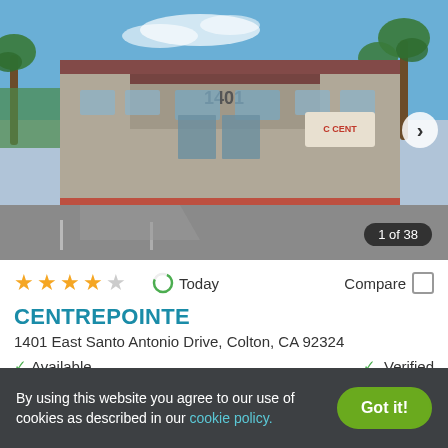[Figure (photo): Exterior photo of Centrepointe apartment complex at 1401 East Santo Antonio Drive, Colton CA. Shows a tan/gray stucco building facade with the number 1401 visible above the entrance, palm trees, red curbing, and a large parking lot in the foreground. Image counter shows 1 of 38.]
★★★★☆   Today   Compare
CENTREPOINTE
1401 East Santo Antonio Drive, Colton, CA 92324
✓ Available   ✓ Verified
Studio
$1,528+
1 BED
$1,846+
By using this website you agree to our use of cookies as described in our cookie policy.   Got it!